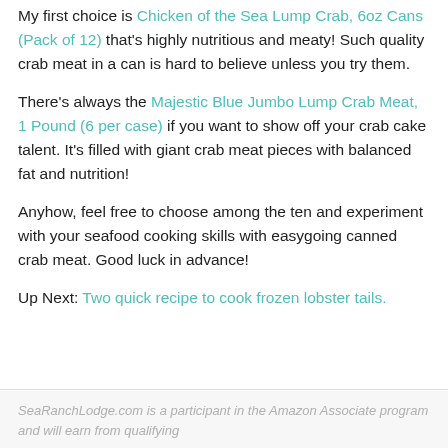My first choice is Chicken of the Sea Lump Crab, 6oz Cans (Pack of 12) that's highly nutritious and meaty! Such quality crab meat in a can is hard to believe unless you try them.
There's always the Majestic Blue Jumbo Lump Crab Meat, 1 Pound (6 per case) if you want to show off your crab cake talent. It's filled with giant crab meat pieces with balanced fat and nutrition!
Anyhow, feel free to choose among the ten and experiment with your seafood cooking skills with easygoing canned crab meat. Good luck in advance!
Up Next: Two quick recipe to cook frozen lobster tails.
SeaRanchLodge.com is a participant in the Amazon Associate program and will earn from qualifying